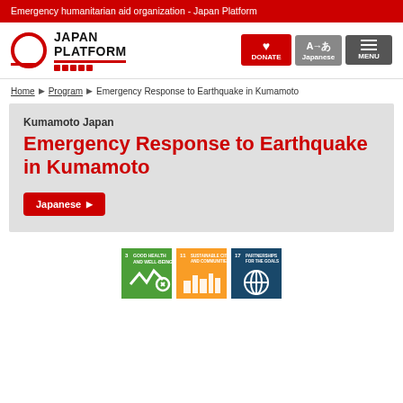Emergency humanitarian aid organization - Japan Platform
[Figure (logo): Japan Platform logo with circular red icon and bold text]
Home > Program > Emergency Response to Earthquake in Kumamoto
Kumamoto Japan
Emergency Response to Earthquake in Kumamoto
Japanese
[Figure (infographic): SDG icons: Goal 3 Good Health and Well-Being (green), Goal 11 Sustainable Cities and Communities (orange), Goal 17 Partnerships for the Goals (dark blue)]